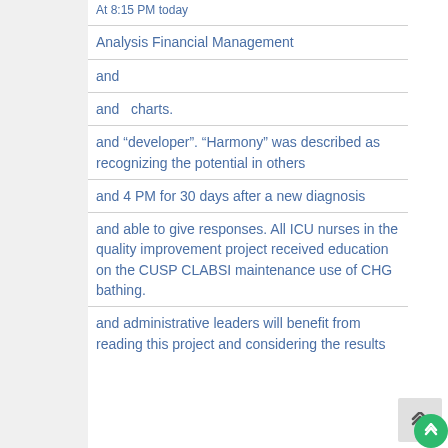At 8:15 PM today
Analysis Financial Management
and
and   charts.
and “developer”. “Harmony” was described as recognizing the potential in others
and 4 PM for 30 days after a new diagnosis
and able to give responses. All ICU nurses in the quality improvement project received education on the CUSP CLABSI maintenance use of CHG bathing.
and administrative leaders will benefit from reading this project and considering the results